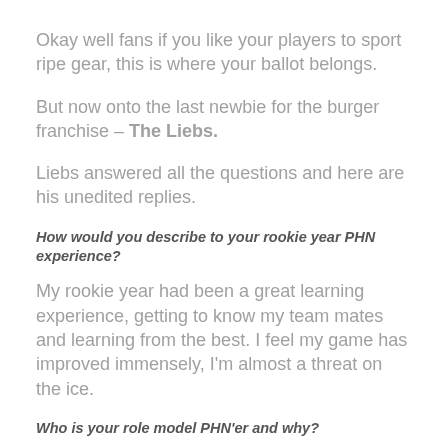Okay well fans if you like your players to sport ripe gear, this is where your ballot belongs.
But now onto the last newbie for the burger franchise – The Liebs.
Liebs answered all the questions and here are his unedited replies.
How would you describe to your rookie year PHN experience?
My rookie year had been a great learning experience, getting to know my team mates and learning from the best. I feel my game has improved immensely, I'm almost a threat on the ice.
Who is your role model PHN'er and why?
My role model on and off the ice would be Joseph